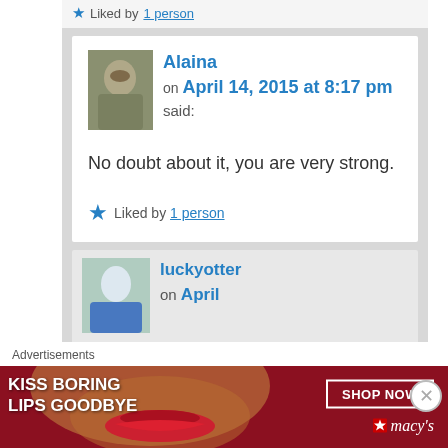★ Liked by 1 person
Alaina on April 14, 2015 at 8:17 pm said:
No doubt about it, you are very strong.
★ Liked by 1 person
luckyotter on April
Advertisements
[Figure (photo): Advertisement banner: KISS BORING LIPS GOODBYE with SHOP NOW button and Macy's logo on dark red background with woman's face.]